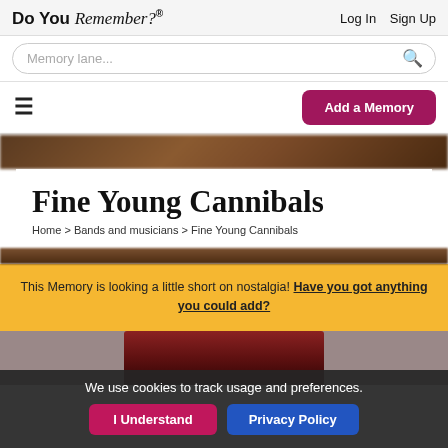Do You Remember? ® Log In Sign Up
Memory lane...
Add a Memory
Fine Young Cannibals
Home > Bands and musicians > Fine Young Cannibals
This Memory is looking a little short on nostalgia! Have you got anything you could add?
[Figure (photo): Partially visible photo of Fine Young Cannibals at the bottom of the page]
We use cookies to track usage and preferences.
I Understand   Privacy Policy